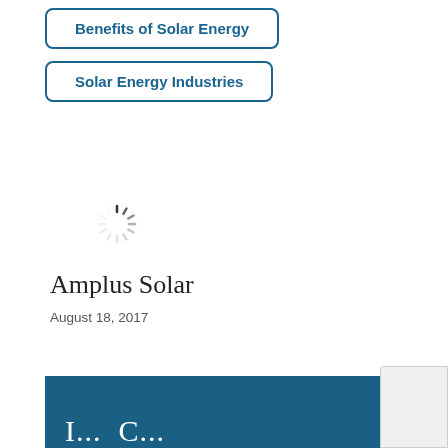Benefits of Solar Energy
Solar Energy Industries
[Figure (other): Spinning loading indicator (spinner/throbber) UI element]
Amplus Solar
August 18, 2017
I...  C...